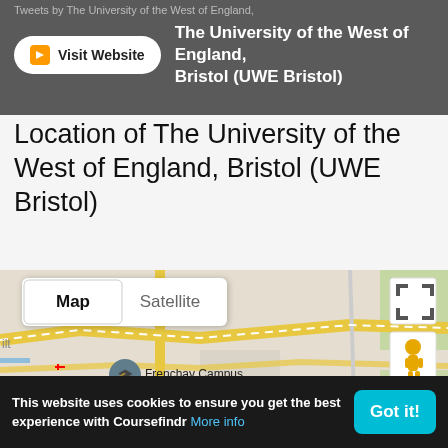Tweets by The University of the West of England, Bristol
Visit Website
The University of the West of England, Bristol (UWE Bristol)
Location of The University of the West of England, Bristol (UWE Bristol)
[Figure (map): Google Map showing Frenchay Campus of UWE Bristol with Map/Satellite toggle, Holiday Inn Bristol-Filton, Building 340, East Entrance - Frenchay Campus markers, and Street View pegman icon]
This website uses cookies to ensure you get the best experience with Coursefindr More info
Got it!